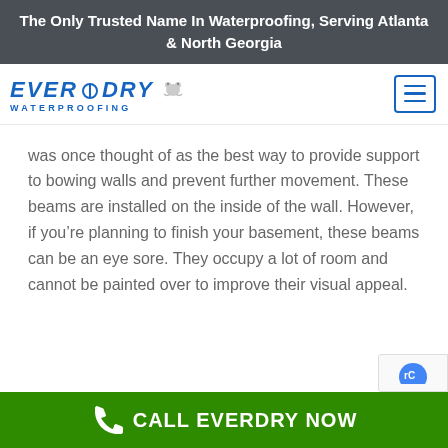The Only Trusted Name In Waterproofing, Serving Atlanta & North Georgia
[Figure (logo): EverDry Waterproofing logo with frog mascot and hamburger menu button]
was once thought of as the best way to provide support to bowing walls and prevent further movement. These beams are installed on the inside of the wall. However, if you’re planning to finish your basement, these beams can be an eye sore. They occupy a lot of room and cannot be painted over to improve their visual appeal.
CALL EVERDRY NOW